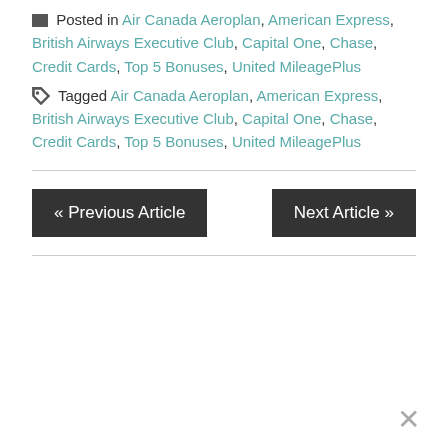Posted in Air Canada Aeroplan, American Express, British Airways Executive Club, Capital One, Chase, Credit Cards, Top 5 Bonuses, United MileagePlus
Tagged Air Canada Aeroplan, American Express, British Airways Executive Club, Capital One, Chase, Credit Cards, Top 5 Bonuses, United MileagePlus
« Previous Article
Next Article »